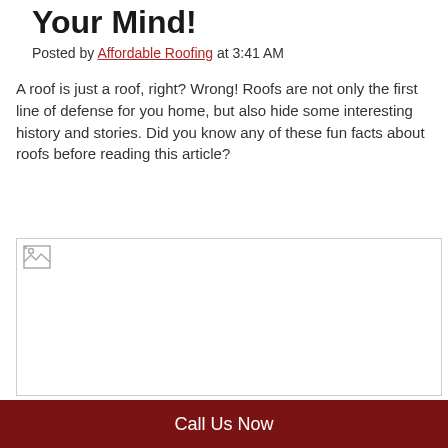Your Mind!
Posted by Affordable Roofing at 3:41 AM
A roof is just a roof, right? Wrong! Roofs are not only the first line of defense for you home, but also hide some interesting history and stories. Did you know any of these fun facts about roofs before reading this article?
[Figure (photo): Image placeholder with broken image icon in the top-left corner; large white rectangle representing an image of a roof.]
Call Us Now